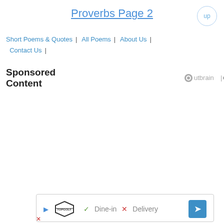Proverbs Page 2
up
Short Poems & Quotes | All Poems | About Us | Contact Us |
Sponsored Content
[Figure (logo): Outbrain logo with play icon]
[Figure (advertisement): Ad banner with TopGolf logo, Dine-in checkmark, Delivery X, and navigation arrow]